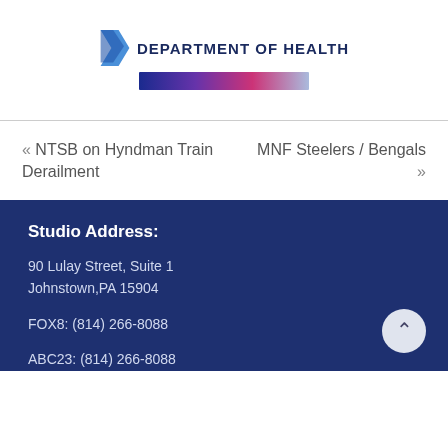[Figure (logo): Pennsylvania Department of Health logo with blue icon shape, bold text 'DEPARTMENT OF HEALTH', and a colorful gradient bar in blue, purple, and pink]
« NTSB on Hyndman Train Derailment
MNF Steelers / Bengals »
Studio Address:
90 Lulay Street, Suite 1
Johnstown,PA 15904
FOX8: (814) 266-8088
ABC23: (814) 266-8088